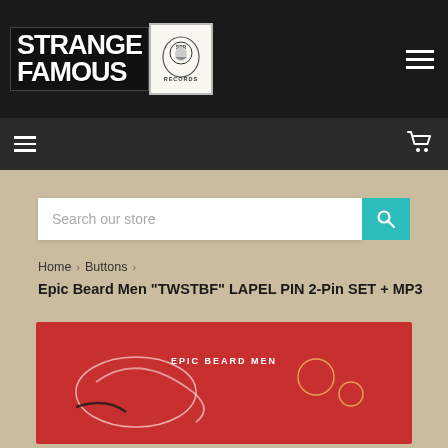[Figure (logo): Strange Famous Records logo with text and badge icon on dark background]
[Figure (screenshot): Navigation bar with hamburger menu on left and cart icon on right, dark background]
Search our store
Home › Buttons › Epic Beard Men "TWSTBF" LAPEL PIN 2-Pin SET + MP3
Epic Beard Men "TWSTBF" LAPEL PIN 2-Pin SET + MP3
[Figure (photo): Epic Beard Men TWSTBF lapel pin product image on red card background with text EPIC BEARD MEN]